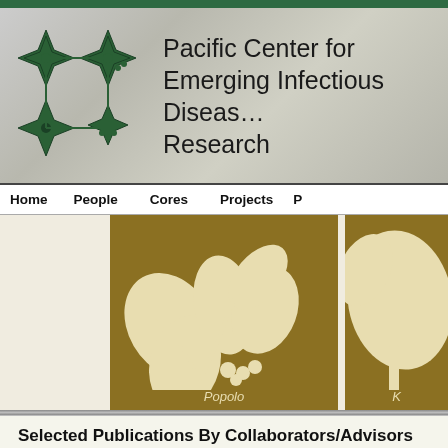[Figure (logo): Pacific Center for Emerging Infectious Diseases Research banner with green snowflake/star logos on left and organization name on right over stone texture background]
Home   People   Cores   Projects   P
[Figure (illustration): Two botanical illustration cards on golden-brown background: left card shows 'Popolo' plant with leaves and berries in cream color, right card shows another plant partially visible labeled 'K']
Selected Publications By Collaborators/Advisors
Order By : Year | Journal | Author